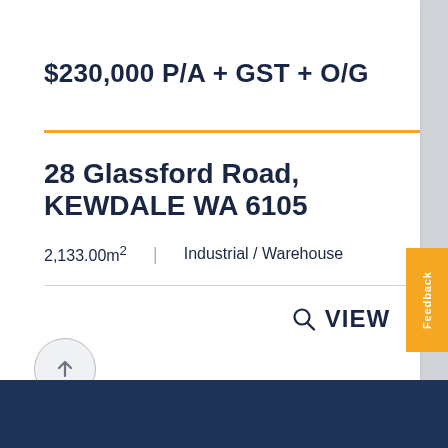$230,000 P/A + GST + O/G
28 Glassford Road, KEWDALE WA 6105
2,133.00m²  |  Industrial / Warehouse
VIEW